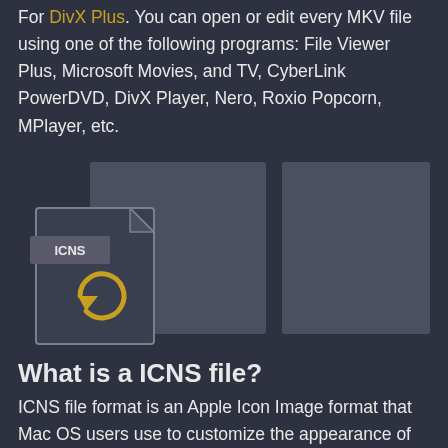For DivX Plus. You can open or edit every MKV file using one of the following programs: File Viewer Plus, Microsoft Movies, and TV, CyberLink PowerDVD, DivX Player, Nero, Roxio Popcorn, MPlayer, etc.
[Figure (illustration): ICNS file icon with a refresh/convert arrow symbol, alongside two grey placeholder image boxes]
What is a ICNS file?
ICNS file format is an Apple Icon Image format that Mac OS users use to customize the appearance of their icons in Finder and OS X dock. Apple Inc. is the developer of this format. ICNS files on Mac OS are in most ways similar to ICO files on Windows. Usually, ICNS